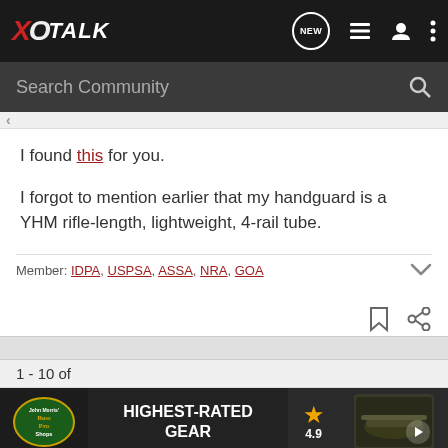[Figure (screenshot): XO Talk forum website navigation bar with logo, NEW button, list icon, user icon, and more options icon]
Search Community
I found this for you.
I forgot to mention earlier that my handguard is a YHM rifle-length, lightweight, 4-rail tube.
Member: IDPA, USPSA, ASSA, NRA, GOA
1 - 10 of
[Figure (infographic): Bass Pro Shops advertisement banner showing HIGHEST-RATED GEAR with 4.9 star rating]
This is a